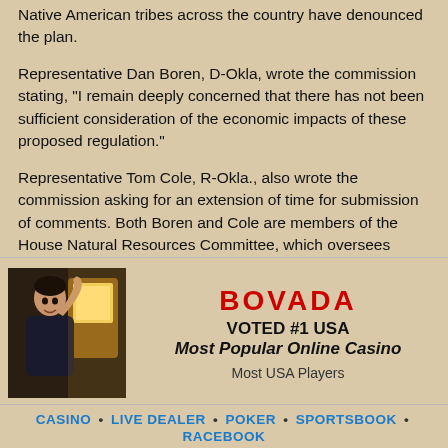Native American tribes across the country have denounced the plan.
Representative Dan Boren, D-Okla, wrote the commission stating, "I remain deeply concerned that there has not been sufficient consideration of the economic impacts of these proposed regulation."
Representative Tom Cole, R-Okla., also wrote the commission asking for an extension of time for submission of comments. Both Boren and Cole are members of the House Natural Resources Committee, which oversees Indian gaming.
Return to Oklahoma Casinos home page.
[Figure (photo): Man in dark jacket raising fist celebrating in front of casino slot machine]
BOVADA VOTED #1 USA Most Popular Online Casino Most USA Players CASINO • LIVE DEALER • POKER • SPORTSBOOK • RACEBOOK